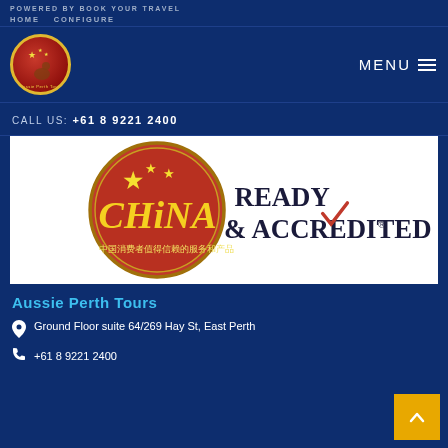POWERED BY BOOK YOUR TRAVEL
HOME   CONFIGURE
[Figure (logo): Aussie Perth Tours circular logo with kangaroo, red and gold colors]
MENU
CALL US: +61 8 9221 2400
[Figure (logo): China Ready & Accredited badge with Chinese text 中国消费者值得信赖的服务和产品]
Aussie Perth Tours
Ground Floor suite 64/269 Hay St, East Perth
+61 8 9221 2400